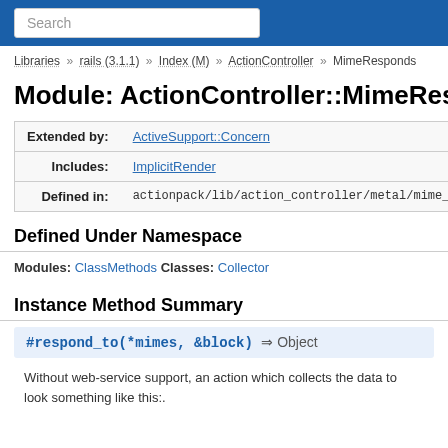Search
Libraries » rails (3.1.1) » Index (M) » ActionController » MimeResponds
Module: ActionController::MimeResp
|  |  |
| --- | --- |
| Extended by: | ActiveSupport::Concern |
| Includes: | ImplicitRender |
| Defined in: | actionpack/lib/action_controller/metal/mime_responds.rb |
Defined Under Namespace
Modules: ClassMethods Classes: Collector
Instance Method Summary
#respond_to(*mimes, &block) ⇒ Object
Without web-service support, an action which collects the data to look something like this:.